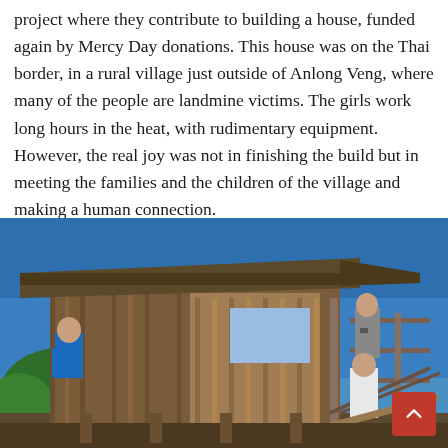project where they contribute to building a house, funded again by Mercy Day donations. This house was on the Thai border, in a rural village just outside of Anlong Veng, where many of the people are landmine victims. The girls work long hours in the heat, with rudimentary equipment. However, the real joy was not in finishing the build but in meeting the families and the children of the village and making a human connection.
[Figure (photo): Outdoor photograph of a wooden house under construction. Three people visible working on scaffolding on the right side of the structure. The building is made of vertical wooden planks with a corrugated metal roof overhang. Clear blue sky in background with some greenery on the left edge.]